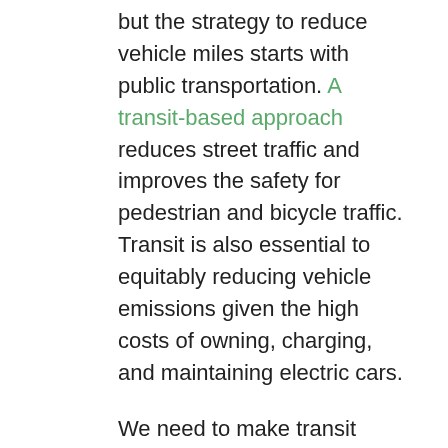but the strategy to reduce vehicle miles starts with public transportation. A transit-based approach reduces street traffic and improves the safety for pedestrian and bicycle traffic. Transit is also essential to equitably reducing vehicle emissions given the high costs of owning, charging, and maintaining electric cars.
We need to make transit better than driving for more people and more neighborhoods – especially those that have been neglected for so long, such as in South Seattle. As Mayor, I will make transit faster by expanding dedicated bus lanes, and I will make transit more accessible by collaborating with our transit partners and